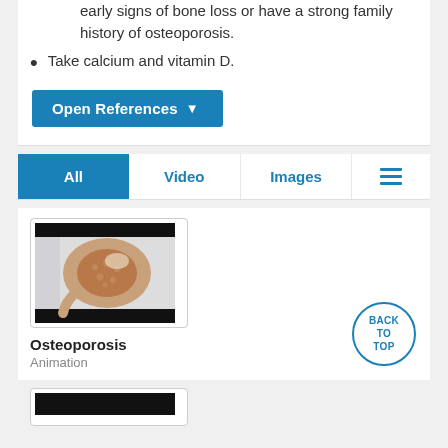early signs of bone loss or have a strong family history of osteoporosis.
Take calcium and vitamin D.
Open References ▼
All | Video | Images | ☰
[Figure (illustration): Thumbnail image showing a cross-section of a bone (femur), illustrating osteoporosis with spongy/porous bone structure. Black letterbox bars at top and bottom.]
Osteoporosis
Animation
[Figure (illustration): Partial thumbnail of another media card, showing a black bar at top, partially visible at the bottom of the page.]